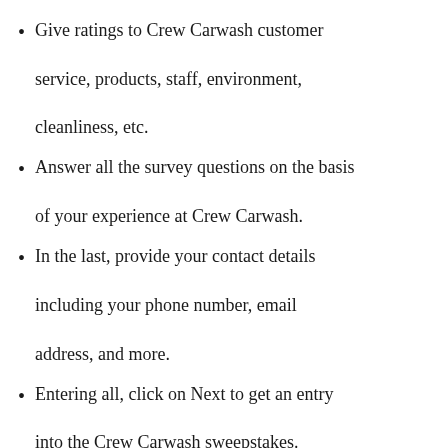Give ratings to Crew Carwash customer service, products, staff, environment, cleanliness, etc.
Answer all the survey questions on the basis of your experience at Crew Carwash.
In the last, provide your contact details including your phone number, email address, and more.
Entering all, click on Next to get an entry into the Crew Carwash sweepstakes.